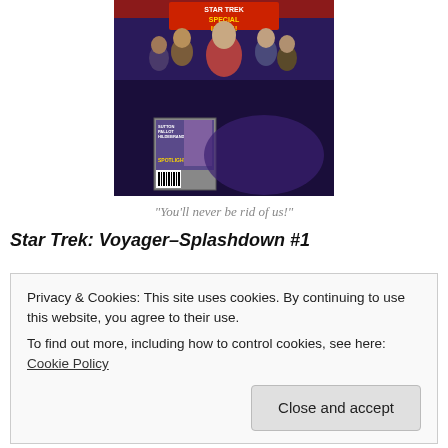[Figure (illustration): Comic book cover for Star Trek: Voyager featuring multiple crew members, a 'Special Issue' banner at the top, and a smaller inset cover at bottom left showing 'SUTTON PALLOT HILDEBRANDT' credits and barcode. The background is dark purple/blue with characters in Starfleet uniforms.]
“You’ll never be rid of us!”
Star Trek: Voyager–Splashdown #1
Privacy & Cookies: This site uses cookies. By continuing to use this website, you agree to their use.
To find out more, including how to control cookies, see here: Cookie Policy
Close and accept